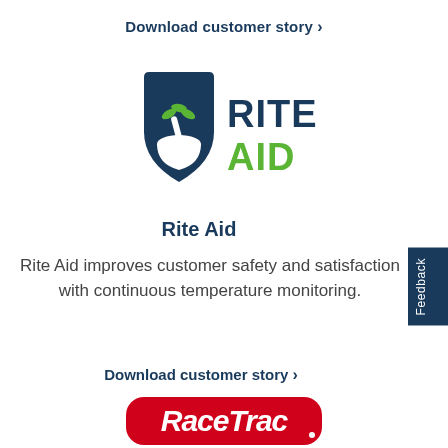Download customer story >
[Figure (logo): Rite Aid logo: blue shield with mortar and pestle icon, text RITE AID with AID in green]
Rite Aid
Rite Aid improves customer safety and satisfaction with continuous temperature monitoring.
Download customer story >
[Figure (logo): RaceTrac logo: red oval/rounded rectangle with white italic text RaceTrac]